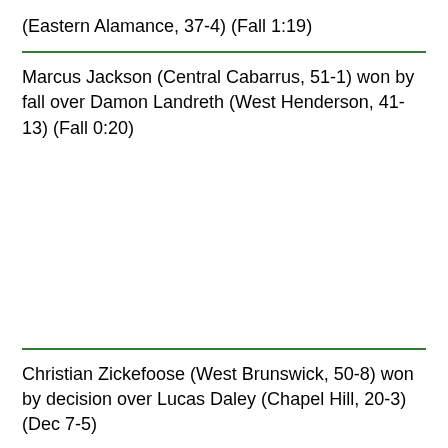(Eastern Alamance, 37-4) (Fall 1:19)
Marcus Jackson (Central Cabarrus, 51-1) won by fall over Damon Landreth (West Henderson, 41-13) (Fall 0:20)
Christian Zickefoose (West Brunswick, 50-8) won by decision over Lucas Daley (Chapel Hill, 20-3) (Dec 7-5)